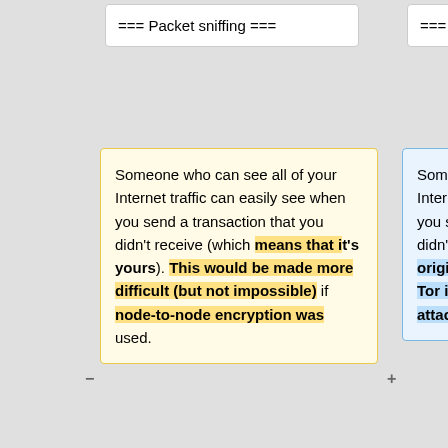=== Packet sniffing ===
=== Packet sniffing ===
Someone who can see all of your Internet traffic can easily see when you send a transaction that you didn't receive (which means that it's yours). This would be made more difficult (but not impossible) if node-to-node encryption was used.
Someone who can see all of your Internet traffic can easily see when you send a transaction that you didn't receive (which suggests you originated it). Bitcoin-QT has good Tor integration which closes this attack vector if used.